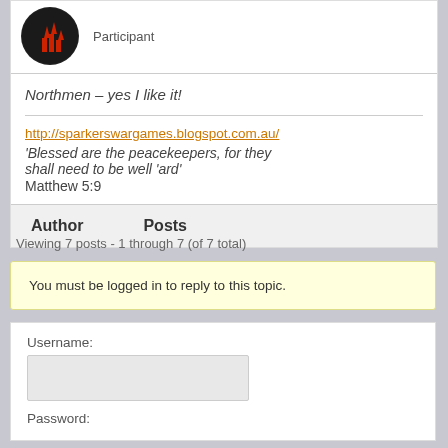Participant
Northmen – yes I like it!
http://sparkerswargames.blogspot.com.au/
'Blessed are the peacekeepers, for they shall need to be well 'ard' Matthew 5:9
Author    Posts
Viewing 7 posts - 1 through 7 (of 7 total)
You must be logged in to reply to this topic.
Username:
Password: